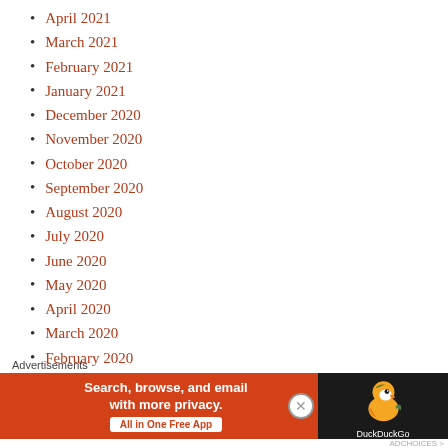April 2021
March 2021
February 2021
January 2021
December 2020
November 2020
October 2020
September 2020
August 2020
July 2020
June 2020
May 2020
April 2020
March 2020
February 2020
January 2020
December 2019
November 2019
Advertisements
[Figure (infographic): DuckDuckGo advertisement banner: orange background on left with text 'Search, browse, and email with more privacy. All in One Free App', dark background on right with DuckDuckGo duck logo]